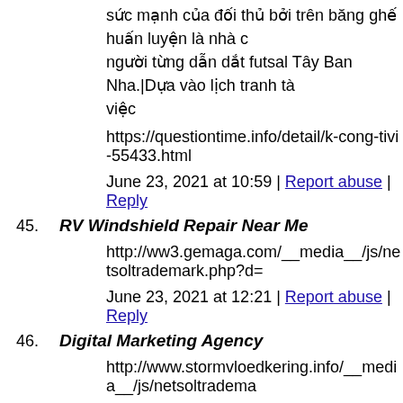sức mạnh của đối thủ bởi trên băng ghế huấn luyện là nhà c… người từng dẫn dắt futsal Tây Ban Nha.|Dựa vào lịch tranh tà… việc
https://questiontime.info/detail/k-cong-tivi-55433.html
June 23, 2021 at 10:59 | Report abuse | Reply
45. RV Windshield Repair Near Me
http://ww3.gemaga.com/__media__/js/netsoltrademark.php?d=
June 23, 2021 at 12:21 | Report abuse | Reply
46. Digital Marketing Agency
http://www.stormvloedkering.info/__media__/js/netsoltradema…
June 23, 2021 at 12:23 | Report abuse | Reply
47. Internet Marketing Business
Hi, I do think this is an excellent website. I stumbledupon it 😉 have book marked it. Money and freedom is the best way to ch… continue to help others.
http://multiple-listing-service.net/__media__/js/netsoltrademan… d=affordableranking.com